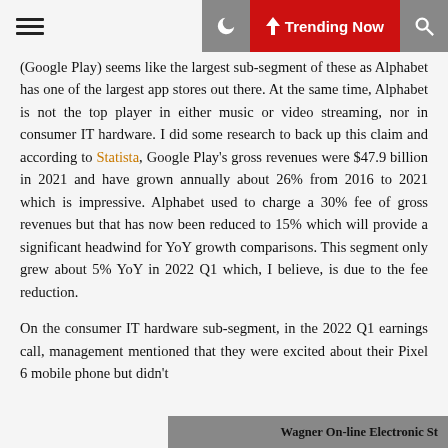☰  🌙  ⚡ Trending Now  🔍
(Google Play) seems like the largest sub-segment of these as Alphabet has one of the largest app stores out there. At the same time, Alphabet is not the top player in either music or video streaming, nor in consumer IT hardware. I did some research to back up this claim and according to Statista, Google Play's gross revenues were $47.9 billion in 2021 and have grown annually about 26% from 2016 to 2021 which is impressive. Alphabet used to charge a 30% fee of gross revenues but that has now been reduced to 15% which will provide a significant headwind for YoY growth comparisons. This segment only grew about 5% YoY in 2022 Q1 which, I believe, is due to the fee reduction.
On the consumer IT hardware sub-segment, in the 2022 Q1 earnings call, management mentioned that they were excited about their Pixel 6 mobile phone but didn't
Wagner On-line Electronic St